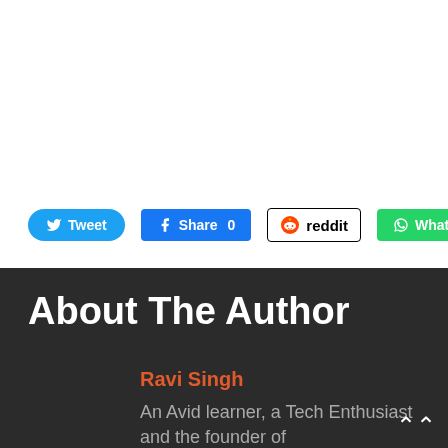[Figure (screenshot): Social share buttons: Tweet (Twitter, blue rounded), Share 0 (Facebook, blue), reddit (outlined), WhatsApp (green)]
About The Author
Ravi Singh
An Avid learner, a Tech Enthusiast and the founder of TechBeginner.in...